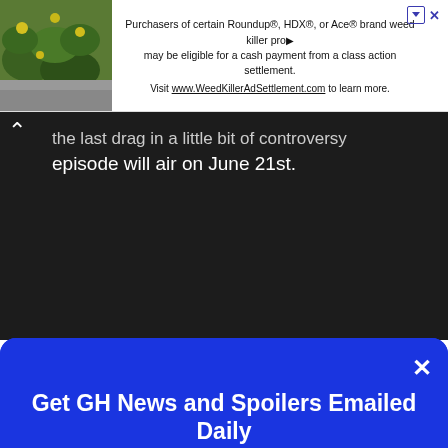[Figure (photo): Advertisement banner with plant/flower image on left and text about Roundup/HDX/Ace weedkiller class action settlement on right]
episode will air on June 21st.
Get GH News and Spoilers Emailed Daily
Sign up now
Email
Sign up